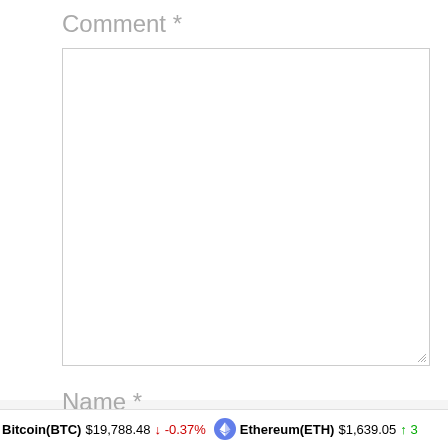Comment *
[Figure (screenshot): Empty comment textarea input box with resize handle in bottom-right corner]
Name *
[Figure (screenshot): Empty name text input box]
Bitcoin(BTC) $19,788.48 ↓ -0.37% Ethereum(ETH) $1,639.05 ↑ 3